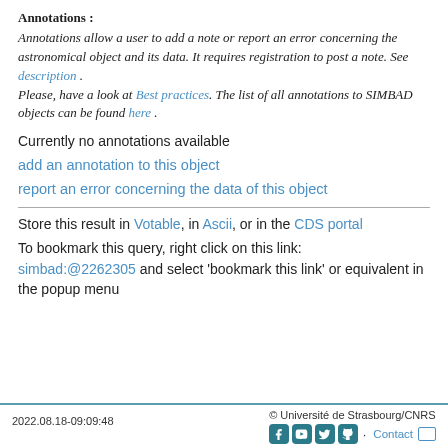Annotations :
Annotations allow a user to add a note or report an error concerning the astronomical object and its data. It requires registration to post a note. See description . Please, have a look at Best practices. The list of all annotations to SIMBAD objects can be found here .
Currently no annotations available
add an annotation to this object
report an error concerning the data of this object
Store this result in Votable, in Ascii, or in the CDS portal
To bookmark this query, right click on this link: simbad:@2262305 and select 'bookmark this link' or equivalent in the popup menu
2022.08.18-09:09:48   © Université de Strasbourg/CNRS   Contact